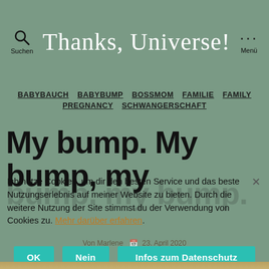Thanks, Universe!
BABYBAUCH  BABYBUMP  BOSSMOM  FAMILIE  FAMILY  PREGNANCY  SCHWANGERSCHAFT
My bump. My bump, my bump. my bump.
Ich nutze Cookies, um dir den besten Service und das beste Nutzungserlebnis auf meiner Website zu bieten. Durch die weitere Nutzung der Site stimmst du der Verwendung von Cookies zu. Mehr darüber erfahren.
Von Marlene   23. April 2020